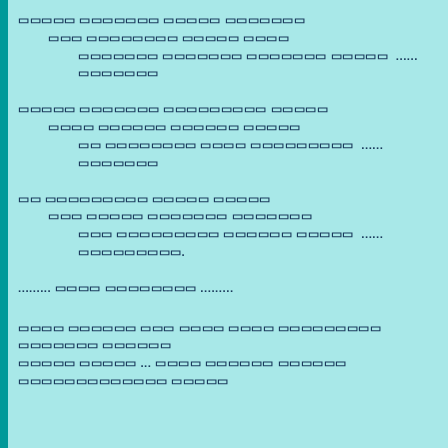block 1 line 1 / block 1 line 2 / block 1 line 3 with dots
block 2 line 1 / block 2 line 2 / block 2 line 3 with dots
block 3 line 1 / block 3 line 2 / block 3 line 3 with dots
......... standalone text .........
bottom paragraph line 1 / bottom paragraph line 2